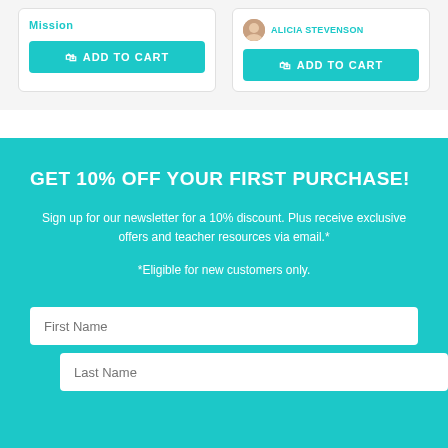Mission
ADD TO CART
ADD TO CART
GET 10% OFF YOUR FIRST PURCHASE!
Sign up for our newsletter for a 10% discount. Plus receive exclusive offers and teacher resources via email.*
*Eligible for new customers only.
First Name
Last Name